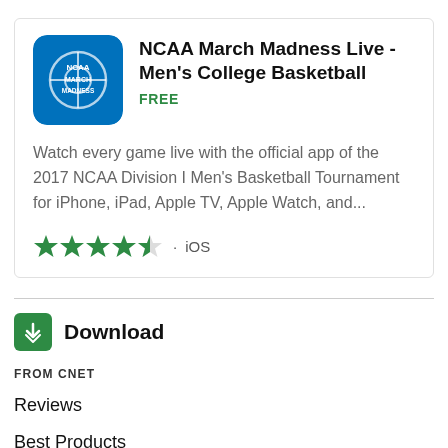[Figure (logo): NCAA March Madness app icon — blue square with basketball court graphic and text 'NCAA MARCH MADNESS']
NCAA March Madness Live - Men's College Basketball
FREE
Watch every game live with the official app of the 2017 NCAA Division I Men's Basketball Tournament for iPhone, iPad, Apple TV, Apple Watch, and...
★★★★½ · iOS
[Figure (logo): Download icon — green square with white double downward chevron]
Download
FROM CNET
Reviews
Best Products